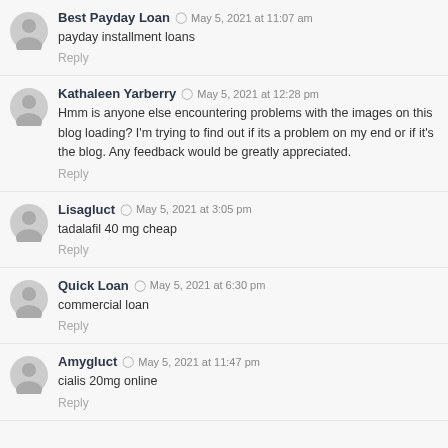Best Payday Loan · May 5, 2021 at 11:07 am · payday installment loans · Reply
Kathaleen Yarberry · May 5, 2021 at 12:28 pm · Hmm is anyone else encountering problems with the images on this blog loading? I'm trying to find out if its a problem on my end or if it's the blog. Any feedback would be greatly appreciated. · Reply
Lisagluct · May 5, 2021 at 3:05 pm · tadalafil 40 mg cheap · Reply
Quick Loan · May 5, 2021 at 6:30 pm · commercial loan · Reply
Amygluct · May 5, 2021 at 11:47 pm · cialis 20mg online · Reply